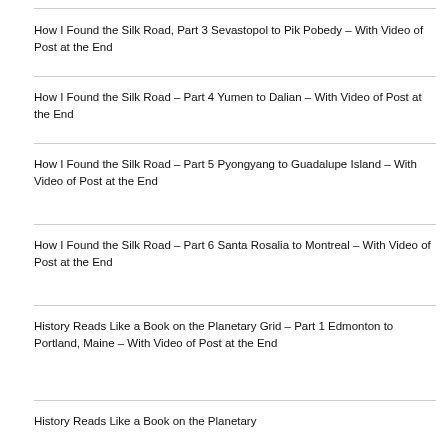How I Found the Silk Road, Part 3 Sevastopol to Pik Pobedy – With Video of Post at the End
How I Found the Silk Road – Part 4 Yumen to Dalian – With Video of Post at the End
How I Found the Silk Road – Part 5 Pyongyang to Guadalupe Island – With Video of Post at the End
How I Found the Silk Road – Part 6 Santa Rosalia to Montreal – With Video of Post at the End
History Reads Like a Book on the Planetary Grid – Part 1 Edmonton to Portland, Maine – With Video of Post at the End
History Reads Like a Book on the Planetary